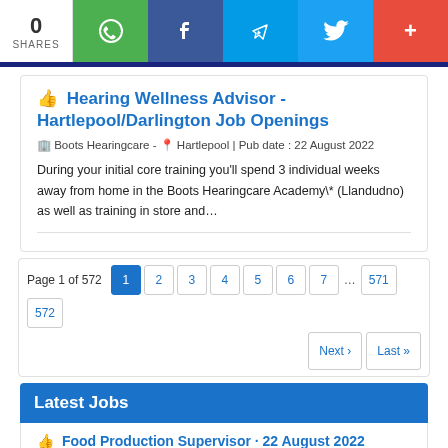0 SHARES
Hearing Wellness Advisor - Hartlepool/Darlington Job Openings
Boots Hearingcare - Hartlepool | Pub date : 22 August 2022
During your initial core training you'll spend 3 individual weeks away from home in the Boots Hearingcare Academy\* (Llandudno) as well as training in store and…
Page 1 of 572
Latest Jobs